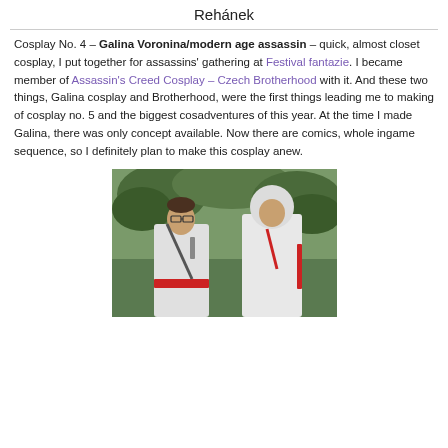Rehánek
Cosplay No. 4 – Galina Voronina/modern age assassin – quick, almost closet cosplay, I put together for assassins' gathering at Festival fantazie. I became member of Assassin's Creed Cosplay – Czech Brotherhood with it. And these two things, Galina cosplay and Brotherhood, were the first things leading me to making of cosplay no. 5 and the biggest cosadventures of this year. At the time I made Galina, there was only concept available. Now there are comics, whole ingame sequence, so I definitely plan to make this cosplay anew.
[Figure (photo): Two people in white Assassin's Creed cosplay outfits standing outdoors in front of trees. The person on the left is male wearing glasses with a red sash. The person on the right is female wearing a white hoodie with red accents.]